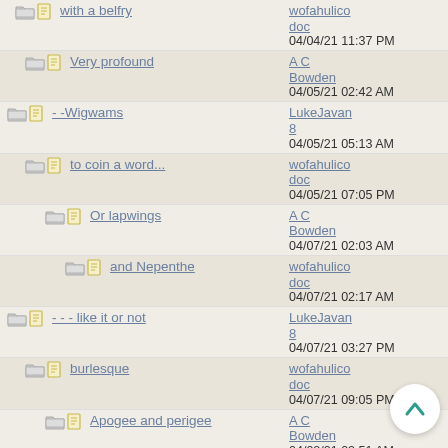with a belfry | wofahulicodoc | 04/04/21 11:37 PM
Very profound | A C Bowden | 04/05/21 02:42 AM
- -Wigwams | LukeJavan8 | 04/05/21 05:13 AM
to coin a word... | wofahulicodoc | 04/05/21 07:05 PM
Or lapwings | A C Bowden | 04/07/21 02:03 AM
and Nepenthe | wofahulicodoc | 04/07/21 02:17 AM
- - - like it or not | LukeJavan8 | 04/07/21 03:27 PM
burlesque | wofahulicodoc | 04/07/21 09:05 PM
Apogee and perigee | A C Bowden | 04/08/21 02:51 AM
Re: Anagrams XVIII | LukeJavan8 | 04/07/21 09:23 PM
- - -GARDENING, OR CARDS | LukeJavan8 | 04/08/21 03:44 PM